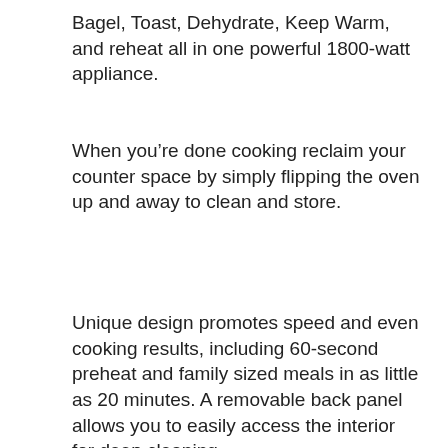Bagel, Toast, Dehydrate, Keep Warm, and reheat all in one powerful 1800-watt appliance.
When you're done cooking reclaim your counter space by simply flipping the oven up and away to clean and store.
Unique design promotes speed and even cooking results, including 60-second preheat and family sized meals in as little as 20 minutes. A removable back panel allows you to easily access the interior for deep cleaning.